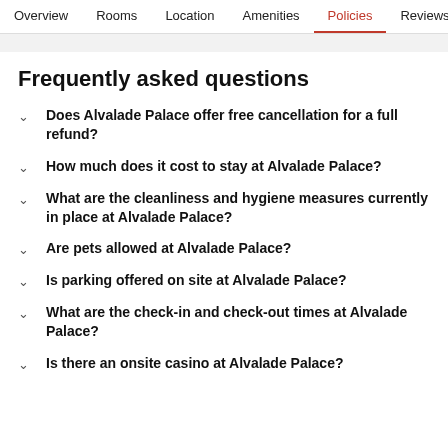Overview  Rooms  Location  Amenities  Policies  Reviews
Frequently asked questions
Does Alvalade Palace offer free cancellation for a full refund?
How much does it cost to stay at Alvalade Palace?
What are the cleanliness and hygiene measures currently in place at Alvalade Palace?
Are pets allowed at Alvalade Palace?
Is parking offered on site at Alvalade Palace?
What are the check-in and check-out times at Alvalade Palace?
Is there an onsite casino at Alvalade Palace?